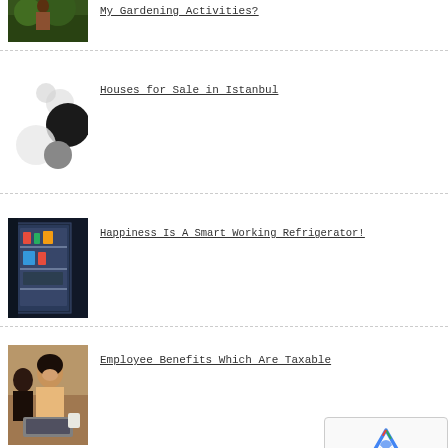My Gardening Activities?
Houses for Sale in Istanbul
Happiness Is A Smart Working Refrigerator!
Employee Benefits Which Are Taxable
Everything You Need To Know About Gambling
[Figure (other): reCAPTCHA privacy terms badge]